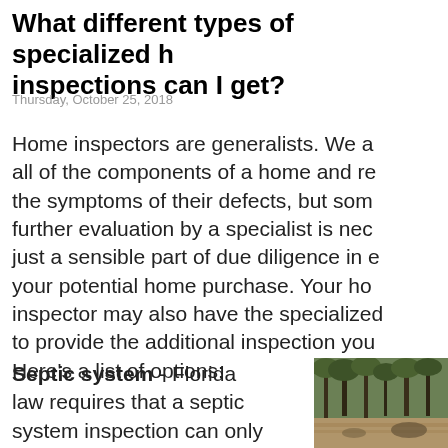What different types of specialized home inspections can I get?
Thursday, October 25, 2018
Home inspectors are generalists. We assess all of the components of a home and report the symptoms of their defects, but sometimes further evaluation by a specialist is necessary or just a sensible part of due diligence in evaluating your potential home purchase. Your home inspector may also have the specialized training to provide the additional inspection you need. Here’s a list of options:
Septic system - Florida law requires that a septic system inspection can only
[Figure (photo): Outdoor wooded area photo showing trees and forest ground]